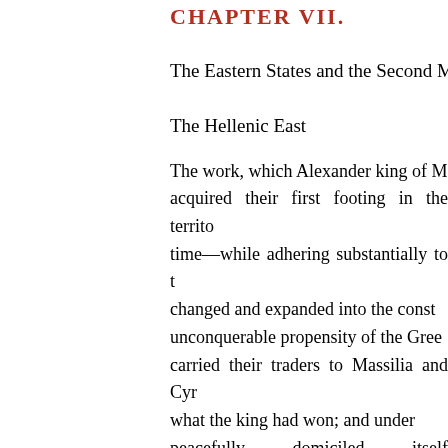CHAPTER VII.
The Eastern States and the Second Mac…
The Hellenic East
The work, which Alexander king of M… acquired their first footing in the territo… time—while adhering substantially to t… changed and expanded into the const… unconquerable propensity of the Gree… carried their traders to Massilia and Cyr… what the king had won; and under … peacefully domiciled itself everywhere… The officers, who divided the heritage o… and a system of equilibrium was estab… sort of regularity.
The Great States Macedonia
Of the three states of the first rank belo… Macedonia under Philip the Fifth, who…